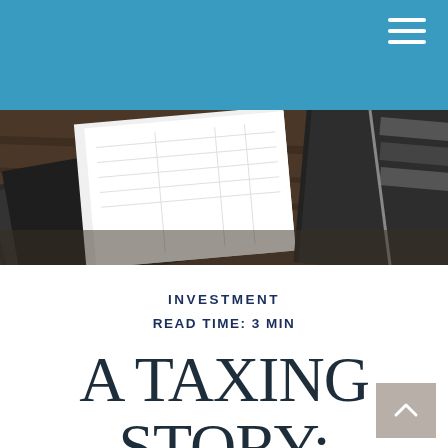[Figure (photo): Overhead view of documents, notebooks, and papers on a dark wooden desk surface]
INVESTMENT
READ TIME: 3 MIN
A TAXING STORY: CAPITAL GAINS AND